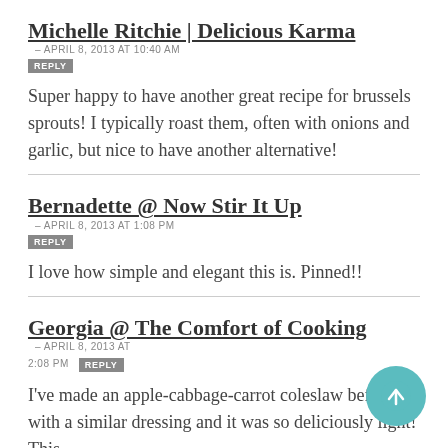Michelle Ritchie | Delicious Karma – APRIL 8, 2013 at 10:40 AM REPLY
Super happy to have another great recipe for brussels sprouts! I typically roast them, often with onions and garlic, but nice to have another alternative!
Bernadette @ Now Stir It Up – APRIL 8, 2013 at 1:08 PM REPLY
I love how simple and elegant this is. Pinned!!
Georgia @ The Comfort of Cooking – APRIL 8, 2013 at 2:08 PM REPLY
I've made an apple-cabbage-carrot coleslaw before with a similar dressing and it was so deliciously light! This